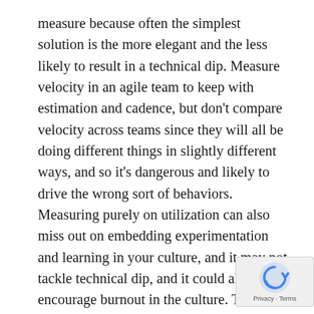measure because often the simplest solution is the more elegant and the less likely to result in a technical dip. Measure velocity in an agile team to keep with estimation and cadence, but don't compare velocity across teams since they will all be doing different things in slightly different ways, and so it's dangerous and likely to drive the wrong sort of behaviors. Measuring purely on utilization can also miss out on embedding experimentation and learning in your culture, and it may not tackle technical dip, and it could also encourage burnout in the culture. Team and global metrics help drive visibility and transparency, and consequently collaboration, shared accountability, shared goals and vision. How do you measure unplanned work is always a question you need to be asking. Let's look at the Societe Generale case study. They identified that it's important to establish two sets of indicators. The first is the transformation itself. In
[Figure (other): Google reCAPTCHA badge with spinning arrow icon and Privacy - Terms links]